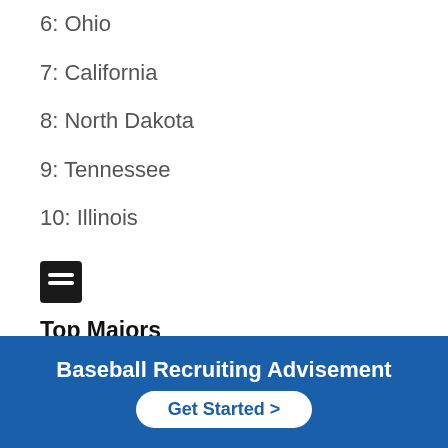6: Ohio
7: California
8: North Dakota
9: Tennessee
10: Illinois
[Figure (other): Small black icon representing a document/list]
Top Majors
1: Parks, Recreation, Leisure, and Fitness Studies
2: Business, Management, and Marketing
3: Undeclared
Baseball Recruiting Advisement
Get Started >